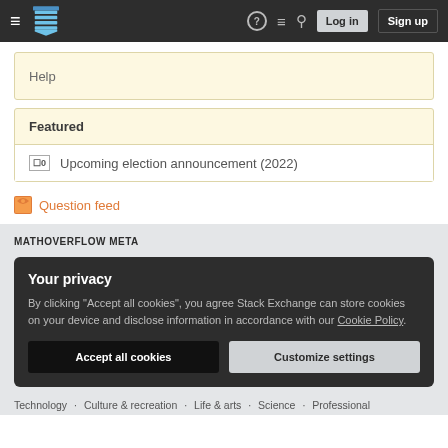MathOverflow navigation bar with logo, help, comments, search icons, Log in and Sign up buttons
Help
Featured
Upcoming election announcement (2022)
Question feed
MATHOVERFLOW META
Your privacy
By clicking "Accept all cookies", you agree Stack Exchange can store cookies on your device and disclose information in accordance with our Cookie Policy.
Accept all cookies   Customize settings
Technology  Culture & recreation  Life & arts  Science  Professional